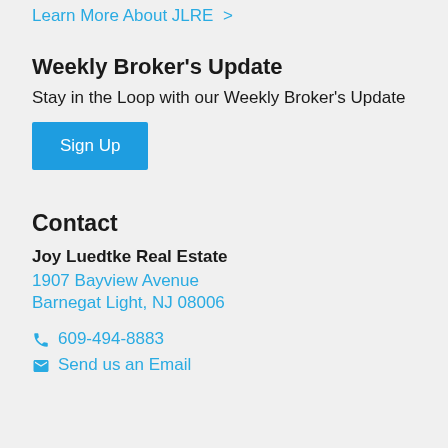Learn More About JLRE >
Weekly Broker's Update
Stay in the Loop with our Weekly Broker's Update
Sign Up
Contact
Joy Luedtke Real Estate
1907 Bayview Avenue
Barnegat Light, NJ 08006
609-494-8883
Send us an Email